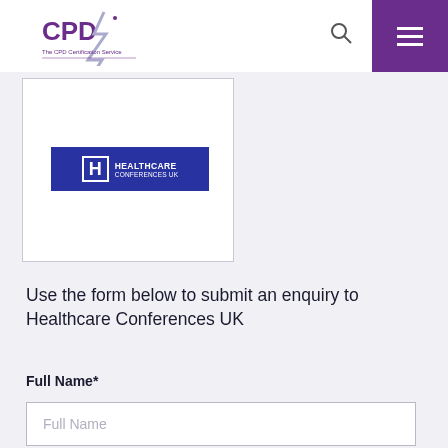[Figure (logo): CPD Certification Service logo with purple lightning bolt]
[Figure (logo): Healthcare Conferences UK logo — blue rectangle with H mark and text]
Use the form below to submit an enquiry to Healthcare Conferences UK
Full Name*
Full Name (placeholder)